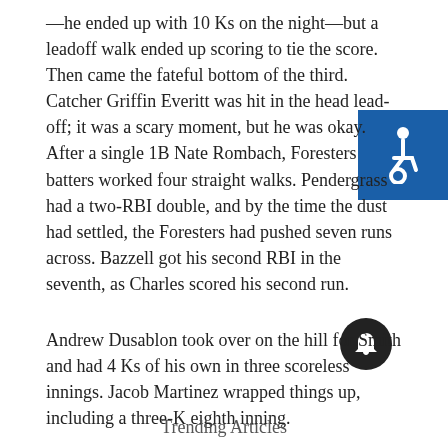—he ended up with 10 Ks on the night—but a leadoff walk ended up scoring to tie the score. Then came the fateful bottom of the third. Catcher Griffin Everitt was hit in the head leadoff; it was a scary moment, but he was okay. After a single 1B Nate Rombach, Foresters batters worked four straight walks. Pendergrass had a two-RBI double, and by the time the dust had settled, the Foresters had pushed seven runs across. Bazzell got his second RBI in the seventh, as Charles scored his second run.
Andrew Dusablon took over on the hill for Smith and had 4 Ks of his own in three scoreless innings. Jacob Martinez wrapped things up, including a three-K eighth inning.
With their record even a 1-1, the Foresters host the OC Riptide on Saturday at 6 pm at Pershing Park. Fans can also listen on AM 1290, KZSB.
Trending Articles